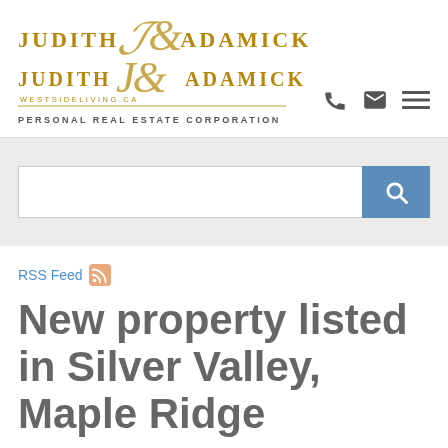[Figure (logo): Judith Adamick WestSideLiving.ca logo with decorative monogram]
PERSONAL REAL ESTATE CORPORATION
[Figure (other): Search bar with blue search button]
RSS Feed
New property listed in Silver Valley, Maple Ridge